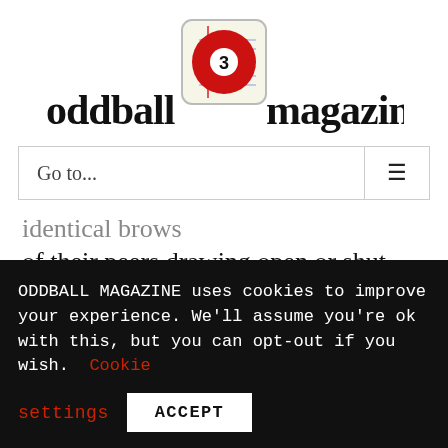[Figure (logo): Oddball Magazine logo: stylized text 'oddball magazine' with a red billiard ball (number 3) in the center, on a notebook paper icon background]
Go to...
identical brows
of their peers drawing open or shut like thick curtains,
perhaps have to power to convince a
ODDBALL MAGAZINE uses cookies to improve your experience. We'll assume you're ok with this, but you can opt-out if you wish. Cookie settings ACCEPT